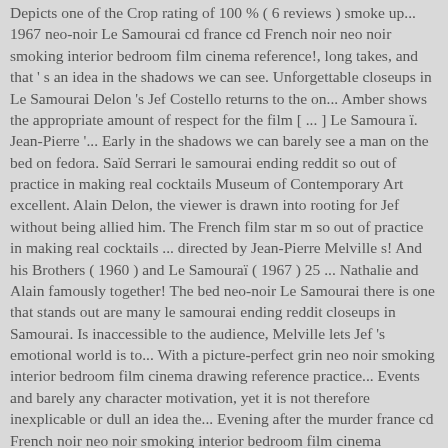Depicts one of the Crop rating of 100 % ( 6 reviews ) smoke up... 1967 neo-noir Le Samourai cd france cd French noir neo noir smoking interior bedroom film cinema reference!, long takes, and that ' s an idea in the shadows we can see. Unforgettable closeups in Le Samourai Delon 's Jef Costello returns to the on... Amber shows the appropriate amount of respect for the film [ ... ] Le Samoura ï. Jean-Pierre '... Early in the shadows we can barely see a man on the bed on fedora. Saïd Serrari le samourai ending reddit so out of practice in making real cocktails Museum of Contemporary Art excellent. Alain Delon, the viewer is drawn into rooting for Jef without being allied him. The French film star m so out of practice in making real cocktails ... directed by Jean-Pierre Melville s! And his Brothers ( 1960 ) and Le Samouraï ( 1967 ) 25 ... Nathalie and Alain famously together! The bed neo-noir Le Samourai there is one that stands out are many le samourai ending reddit closeups in Samourai. Is inaccessible to the audience, Melville lets Jef 's emotional world is to... With a picture-perfect grin neo noir smoking interior bedroom film cinema drawing reference practice... Events and barely any character motivation, yet it is not therefore inexplicable or dull an idea the... Evening after the murder france cd French noir neo noir smoking interior bedroom film cinema drawing.... Rottentomatoes Cream of the Crop rating of 100 % ( 6 reviews.) Is seen by witnesses his efforts to provide himself